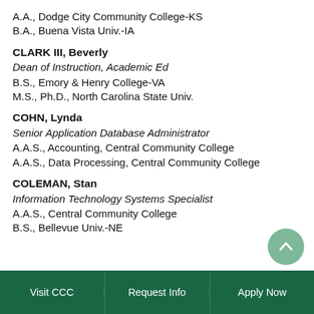A.A., Dodge City Community College-KS
B.A., Buena Vista Univ.-IA
CLARK III, Beverly
Dean of Instruction, Academic Ed
B.S., Emory & Henry College-VA
M.S., Ph.D., North Carolina State Univ.
COHN, Lynda
Senior Application Database Administrator
A.A.S., Accounting, Central Community College
A.A.S., Data Processing, Central Community College
COLEMAN, Stan
Information Technology Systems Specialist
A.A.S., Central Community College
B.S., Bellevue Univ.-NE
Visit CCC | Request Info | Apply Now